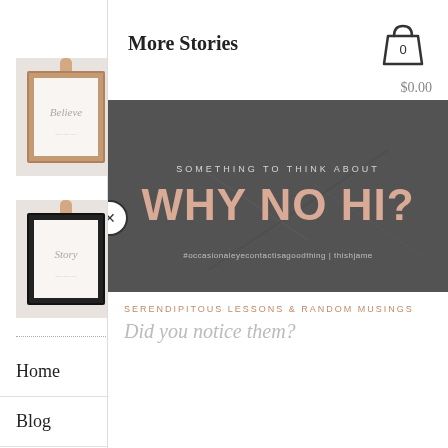Shop
[Figure (illustration): Framed poster product image showing 'Believe' script on white background with tan/copper frame, held by hand]
FRAMED POSTER
$36.00 – $88.00
[Figure (illustration): Framed poster product image showing 'Story' script on white background with black frame, held by hand]
FRAM...
$36.00...
Home
Blog
About
Contact
More Stories
[Figure (photo): Dark gray textured stone/concrete background with text overlay: 'SOMETHING TO THINK ABOUT' subtitle and 'WHY NO HI?' large headline in salmon/blush color, with hashtag '#occasionaleyecontactisagoodthing | thishjame']
SERENDIPITOUS LESSONS & RANDOM MUSINGS
Did you notice them?